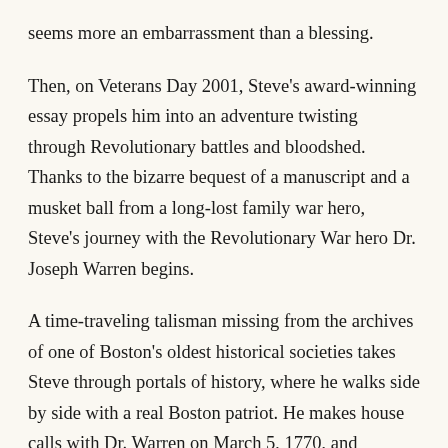seems more an embarrassment than a blessing.
Then, on Veterans Day 2001, Steve's award-winning essay propels him into an adventure twisting through Revolutionary battles and bloodshed. Thanks to the bizarre bequest of a manuscript and a musket ball from a long-lost family war hero, Steve's journey with the Revolutionary War hero Dr. Joseph Warren begins.
A time-traveling talisman missing from the archives of one of Boston's oldest historical societies takes Steve through portals of history, where he walks side by side with a real Boston patriot. He makes house calls with Dr. Warren on March 5, 1770, and stumbles onto the bloodstained streets of the Boston Massacre. From the killings of March 5 to boarding tea ships in 1773, Steve's history book explodes to life as he helps Dr. Warren and forges a friendship with Boston's True Patriot. Steve watches Dr.